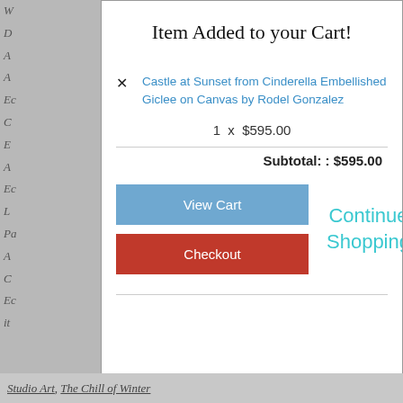Item Added to your Cart!
Castle at Sunset from Cinderella Embellished Giclee on Canvas by Rodel Gonzalez
1  x  $595.00
Subtotal: : $595.00
[Figure (screenshot): View Cart button (blue) and Checkout button (red), with Continue Shopping link in cyan text]
Studio Art, The Chill of Winter